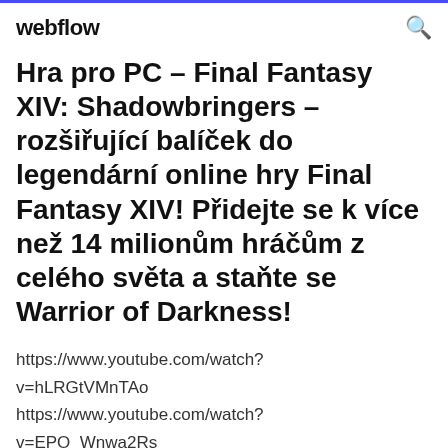webflow
Hra pro PC – Final Fantasy XIV: Shadowbringers – rozšiřující balíček do legendární online hry Final Fantasy XIV! Přidejte se k více než 14 milionům hráčům z celého světa a staňte se Warrior of Darkness!
https://www.youtube.com/watch?v=hLRGtVMnTAo
https://www.youtube.com/watch?v=EPO_Wnwa2Rs
https://www.youtube.com/watch?v=_QAMnfdDMOw
https://www.youtube.com/watch?